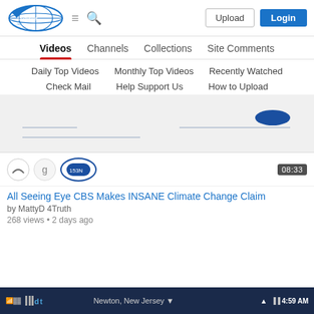153News.net — Upload | Login
Videos | Channels | Collections | Site Comments
Daily Top Videos | Monthly Top Videos | Recently Watched
Check Mail | Help Support Us | How to Upload
[Figure (screenshot): Loading placeholder area with a blue oval and horizontal lines indicating content loading]
[Figure (screenshot): Video thumbnail row showing channel icons and a duration badge of 08:33]
All Seeing Eye CBS Makes INSANE Climate Change Claim
by MattyD 4Truth
268 views • 2 days ago
[Figure (screenshot): Mobile status bar showing Newton, New Jersey location and time 4:59 AM]